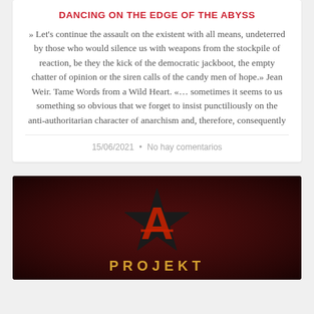DANCING ON THE EDGE OF THE ABYSS
» Let's continue the assault on the existent with all means, undeterred by those who would silence us with weapons from the stockpile of reaction, be they the kick of the democratic jackboot, the empty chatter of opinion or the siren calls of the candy men of hope.» Jean Weir. Tame Words from a Wild Heart. «… sometimes it seems to us something so obvious that we forget to insist punctiliously on the anti-authoritarian character of anarchism and, therefore, consequently
15/06/2021  •  No hay comentarios
[Figure (logo): Dark red background with a black star and red anarchist 'A' symbol in the center, with the word PROJEKT in gold/yellow bold letters below]